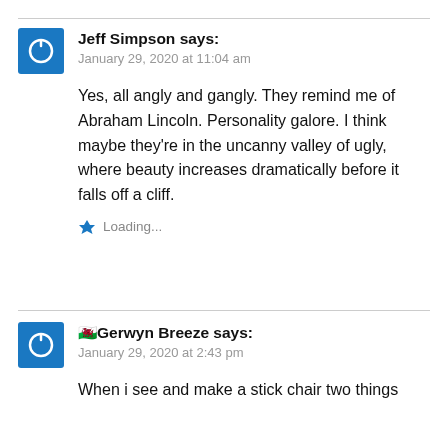Jeff Simpson says:
January 29, 2020 at 11:04 am
Yes, all angly and gangly. They remind me of Abraham Lincoln. Personality galore. I think maybe they're in the uncanny valley of ugly, where beauty increases dramatically before it falls off a cliff.
Loading...
🏴󠁧󠁢󠁷󠁬󠁳󠁿Gerwyn Breeze says:
January 29, 2020 at 2:43 pm
When i see and make a stick chair two things